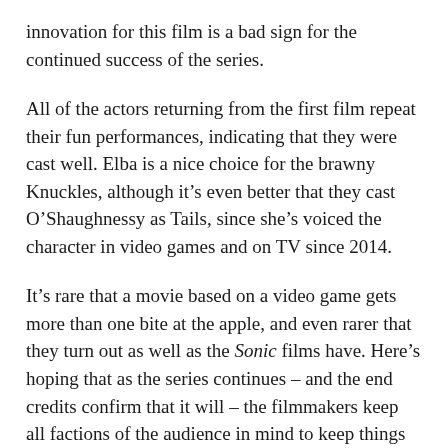innovation for this film is a bad sign for the continued success of the series.
All of the actors returning from the first film repeat their fun performances, indicating that they were cast well. Elba is a nice choice for the brawny Knuckles, although it's even better that they cast O'Shaughnessy as Tails, since she's voiced the character in video games and on TV since 2014.
It's rare that a movie based on a video game gets more than one bite at the apple, and even rarer that they turn out as well as the Sonic films have. Here's hoping that as the series continues – and the end credits confirm that it will – the filmmakers keep all factions of the audience in mind to keep things equally entertaining.